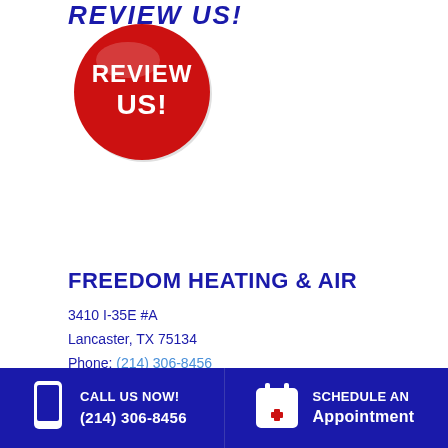REVIEW US!
[Figure (illustration): Red circle button with white bold text reading REVIEW US!]
FREEDOM HEATING & AIR
3410 I-35E #A
Lancaster, TX 75134
Phone: (214) 306-8456
Lic# - TACLA29453C
CALL US NOW! (214) 306-8456  |  SCHEDULE AN Appointment